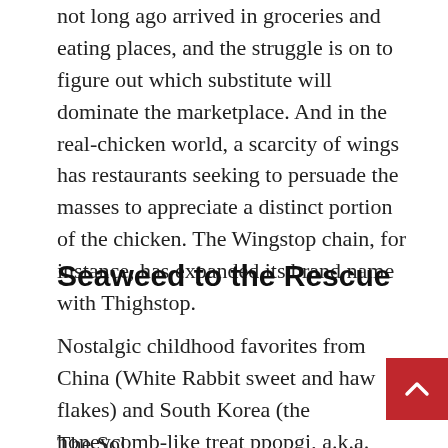not long ago arrived in groceries and eating places, and the struggle is on to figure out which substitute will dominate the marketplace. And in the real-chicken world, a scarcity of wings has restaurants seeking to persuade the masses to appreciate a distinct portion of the chicken. The Wingstop chain, for instance, has expanded its brand name with Thighstop.
Seaweed to the Rescue
Nostalgic childhood favorites from China (White Rabbit sweet and haw flakes) and South Korea (the honeycomb-like treat ppopgi, a.k.a. dalgona candy, and Apollo straws) will operate their way into American browsing carts and recipes for desserts and beverages.
The Sol...